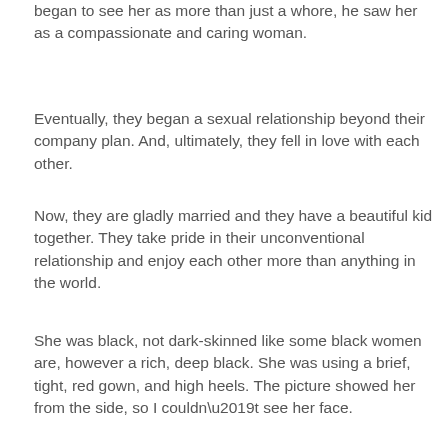began to see her as more than just a whore, he saw her as a compassionate and caring woman.
Eventually, they began a sexual relationship beyond their company plan. And, ultimately, they fell in love with each other.
Now, they are gladly married and they have a beautiful kid together. They take pride in their unconventional relationship and enjoy each other more than anything in the world.
She was black, not dark-skinned like some black women are, however a rich, deep black. She was using a brief, tight, red gown, and high heels. The picture showed her from the side, so I couldn't see her face.
I clicked on the ‘contact’ button, and it took me to a page where I could enter my details. I did so, and then click the ‘send’ button. Almost instantly, I received a reply.